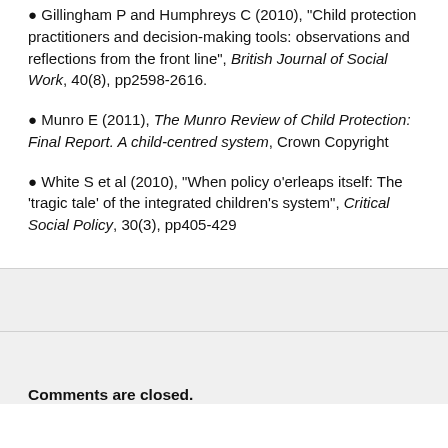Gillingham P and Humphreys C (2010), “Child protection practitioners and decision-making tools: observations and reflections from the front line”, British Journal of Social Work, 40(8), pp2598-2616.
Munro E (2011), The Munro Review of Child Protection: Final Report. A child-centred system, Crown Copyright
White S et al (2010), “When policy o’erleaps itself: The ‘tragic tale’ of the integrated children’s system”, Critical Social Policy, 30(3), pp405-429
Comments are closed.